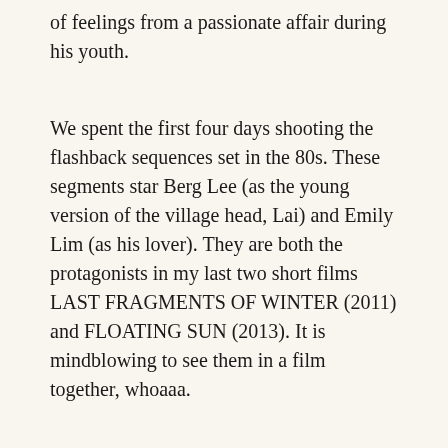of feelings from a passionate affair during his youth.
We spent the first four days shooting the flashback sequences set in the 80s. These segments star Berg Lee (as the young version of the village head, Lai) and Emily Lim (as his lover). They are both the protagonists in my last two short films LAST FRAGMENTS OF WINTER (2011) and FLOATING SUN (2013). It is mindblowing to see them in a film together, whoaaa.
Post by □□□ emily lim.
The first day was particularly intense because we had to go out into the sea to shoot this. Ming Jin and I had to also get into the water and hold the boats for our